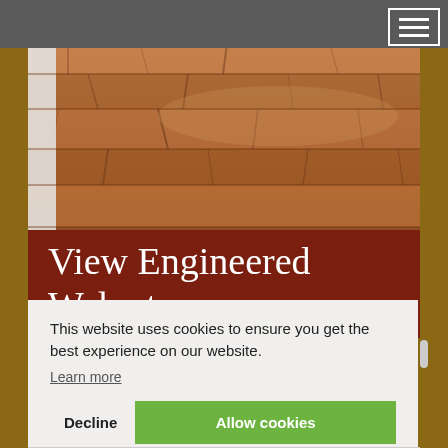[Figure (photo): Polished walnut hardwood floor with rich brown tones and wood grain pattern, viewed from a room corner]
View Engineered Walnut
This website uses cookies to ensure you get the best experience on our website.
Learn more
Decline
Allow cookies